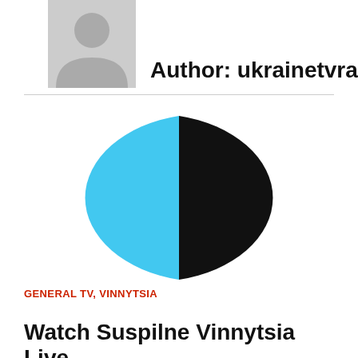[Figure (illustration): Generic grey avatar/profile silhouette icon]
Author: ukrainetvradio.com
[Figure (pie-chart): Two-tone pie chart split roughly 50/50 between sky blue (left half) and black (right half), slightly flattened elliptical shape]
GENERAL TV, VINNYTSIA
Watch Suspilne Vinnytsia Live